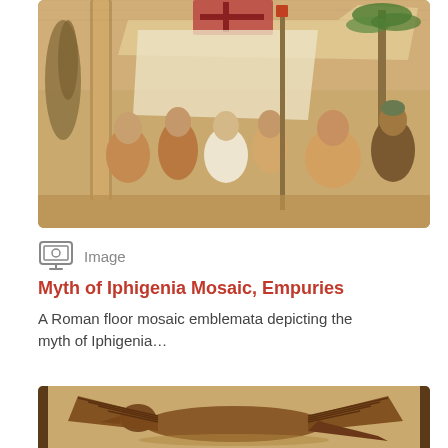[Figure (photo): Roman floor mosaic emblemata depicting the myth of Iphigenia, showing multiple figures in robes gathered under a canopy with palms and columns, warm earth tones]
Image
Myth of Iphigenia Mosaic, Empuries
A Roman floor mosaic emblemata depicting the myth of Iphigenia…
[Figure (photo): Close-up of a Roman mosaic showing a bird (eagle or pelican) with wings spread, in brown and tan tesserae on a beige background with dark border]